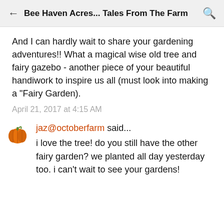Bee Haven Acres... Tales From The Farm
And I can hardly wait to share your gardening adventures!! What a magical wise old tree and fairy gazebo - another piece of your beautiful handiwork to inspire us all (must look into making a "Fairy Garden).
April 21, 2017 at 4:15 AM
jaz@octoberfarm said...
i love the tree! do you still have the other fairy garden? we planted all day yesterday too. i can't wait to see your gardens!